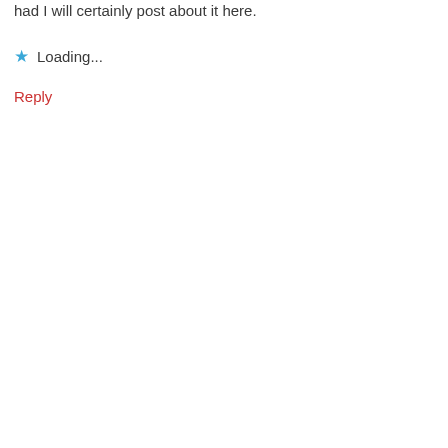had I will certainly post about it here.
★ Loading...
Reply